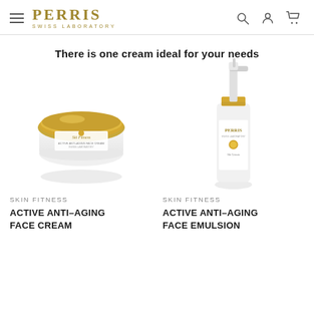PERRIS SWISS LABORATORY
There is one cream ideal for your needs
[Figure (photo): Perris Swiss Laboratory Skin Fitness Active Anti-Aging Face Cream jar with white and gold lid]
SKIN FITNESS
ACTIVE ANTI-AGING FACE CREAM
[Figure (photo): Perris Swiss Laboratory Skin Fitness Active Anti-Aging Face Emulsion pump bottle, white and gold]
SKIN FITNESS
ACTIVE ANTI-AGING FACE EMULSION